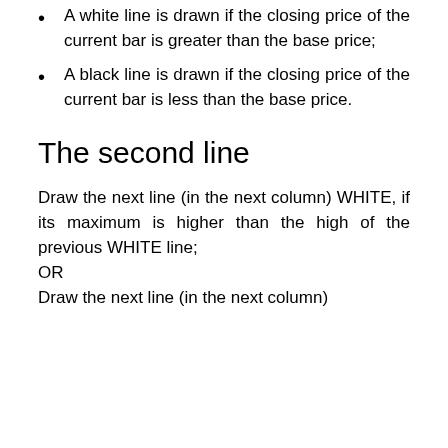A white line is drawn if the closing price of the current bar is greater than the base price;
A black line is drawn if the closing price of the current bar is less than the base price.
The second line
Draw the next line (in the next column) WHITE, if its maximum is higher than the high of the previous WHITE line;
OR
Draw the next line (in the next column)